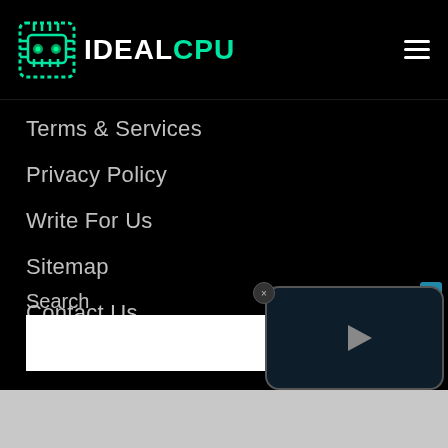IDEALCPU
Terms & Services
Privacy Policy
Write For Us
Sitemap
Contact Us
Search
[Figure (screenshot): White search input box]
[Figure (screenshot): Video player overlay with play button, close button, and teal button]